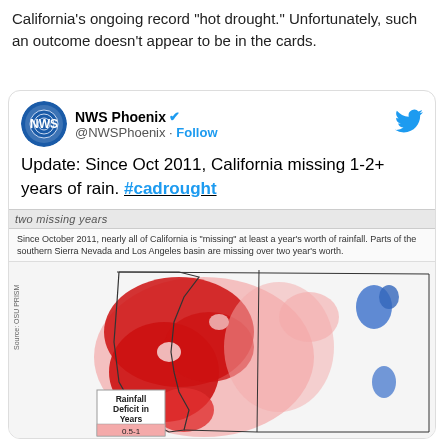California’s ongoing record “hot drought.” Unfortunately, such an outcome doesn’t appear to be in the cards.
[Figure (screenshot): Embedded tweet from NWS Phoenix (@NWSPhoenix) with verified badge and Follow button. Tweet text: 'Update: Since Oct 2011, California missing 1-2+ years of rain. #cadrought'. Contains a map image showing rainfall deficit in years across California and surrounding states, with red shading indicating deficit areas and blue indicating surplus. A legend box shows 'Rainfall Deficit in Years' with a value '0.5-1' visible at the bottom. Map caption reads: 'Since October 2011, nearly all of California is "missing" at least a year's worth of rainfall. Parts of the southern Sierra Nevada and Los Angeles basin are missing over two year’s worth.' Source: OSU PRISM.]